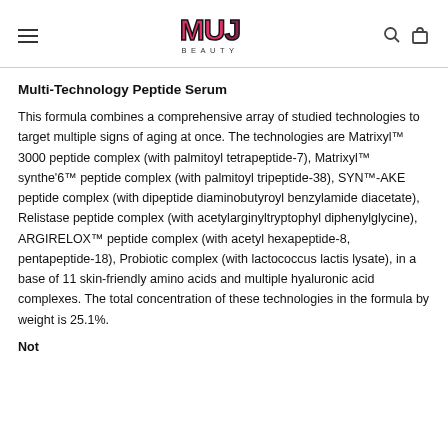MUJ BEAUTY
Multi-Technology Peptide Serum
This formula combines a comprehensive array of studied technologies to target multiple signs of aging at once. The technologies are Matrixyl™ 3000 peptide complex (with palmitoyl tetrapeptide-7), Matrixyl™ synthe'6™ peptide complex (with palmitoyl tripeptide-38), SYN™-AKE peptide complex (with dipeptide diaminobutyroyl benzylamide diacetate), Relistase peptide complex (with acetylarginyltryptophyl diphenylglycine), ARGIRELOX™ peptide complex (with acetyl hexapeptide-8, pentapeptide-18), Probiotic complex (with lactococcus lactis lysate), in a base of 11 skin-friendly amino acids and multiple hyaluronic acid complexes. The total concentration of these technologies in the formula by weight is 25.1%.
Not